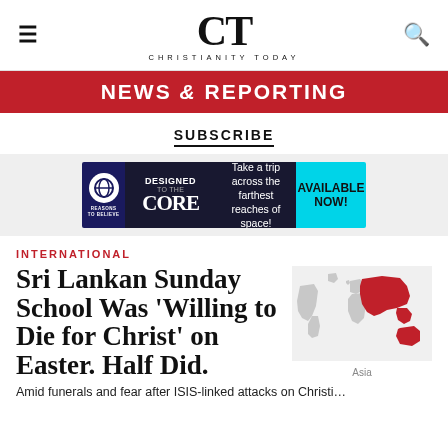CT CHRISTIANITY TODAY
NEWS & REPORTING
SUBSCRIBE
[Figure (infographic): Advertisement banner: Reasons to Believe – Designed to the Core – Take a trip across the farthest reaches of space! AVAILABLE NOW!]
INTERNATIONAL
Sri Lankan Sunday School Was ‘Willing to Die for Christ’ on Easter. Half Did.
[Figure (map): World map with Asia region highlighted in red, labeled 'Asia']
Amid funerals and fear after ISIS-linked attacks on Christians,